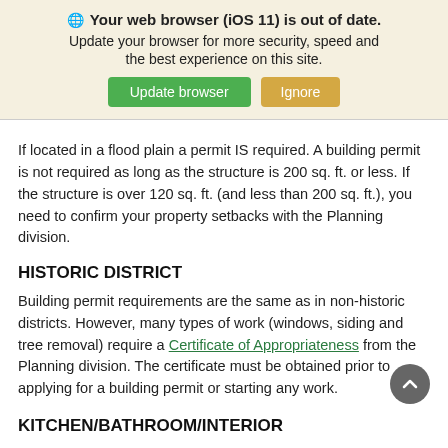🌐 Your web browser (iOS 11) is out of date. Update your browser for more security, speed and the best experience on this site. [Update browser] [Ignore]
If located in a flood plain a permit IS required. A building permit is not required as long as the structure is 200 sq. ft. or less. If the structure is over 120 sq. ft. (and less than 200 sq. ft.), you need to confirm your property setbacks with the Planning division.
HISTORIC DISTRICT
Building permit requirements are the same as in non-historic districts. However, many types of work (windows, siding and tree removal) require a Certificate of Appropriateness from the Planning division. The certificate must be obtained prior to applying for a building permit or starting any work.
KITCHEN/BATHROOM/INTERIOR